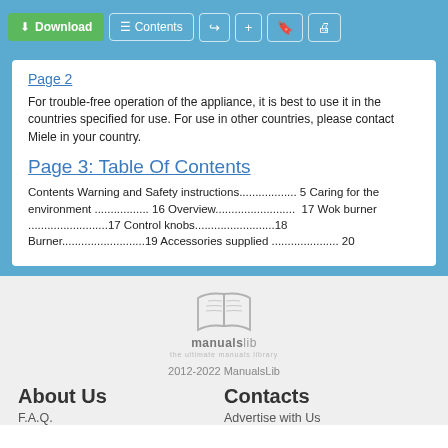Download | Contents | share | add | bookmark | print
Page 2
For trouble-free operation of the appliance, it is best to use it in the countries specified for use. For use in other countries, please contact Miele in your country.
Page 3: Table Of Contents
Contents Warning and Safety instructions................. 5 Caring for the environment ................. 16 Overview......................... 17 Wok burner .........................17 Control knobs.........................18 Burner..........................19 Accessories supplied ..................... 20
[Figure (logo): ManualsLib logo - open book icon with 'manualslib' text and tagline 'the ultimate manuals library']
2012-2022 ManualsLib
About Us
Contacts
F.A.Q.
Advertise with Us